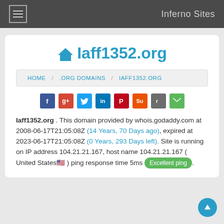Inferno Sites
Iaff1352.org
HOME / .ORG DOMAINS / IAFF1352.ORG
[Figure (infographic): Social sharing icons: Facebook, Google+, Twitter, LinkedIn, Pinterest, StumbleUpon, Reddit, Email]
Iaff1352.org . This domain provided by whois.godaddy.com at 2008-06-17T21:05:08Z (14 Years, 70 Days ago), expired at 2023-06-17T21:05:08Z (0 Years, 293 Days left). Site is running on IP address 104.21.21.167, host name 104.21.21.167 ( United States ) ping response time 5ms Excellent ping.